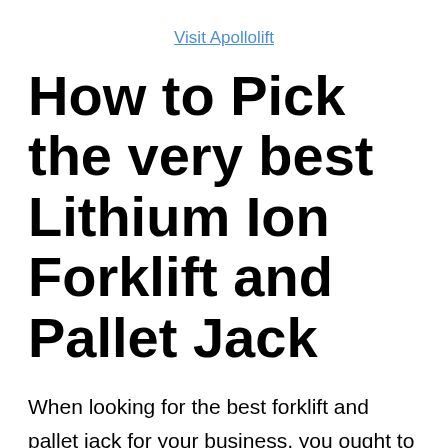Visit Apollolift
How to Pick the very best Lithium Ion Forklift and Pallet Jack
When looking for the best forklift and pallet jack for your business, you ought to search for the following functions: comfort, security, efficiency, and availability. In